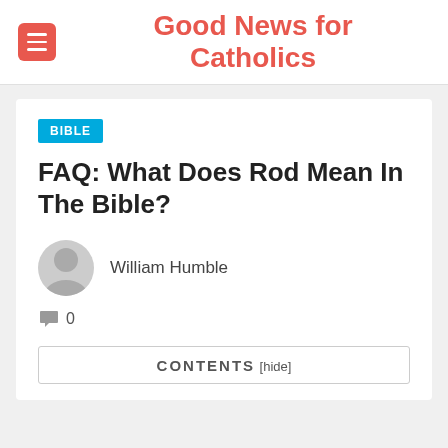Good News for Catholics
FAQ: What Does Rod Mean In The Bible?
William Humble
0
Contents [hide]